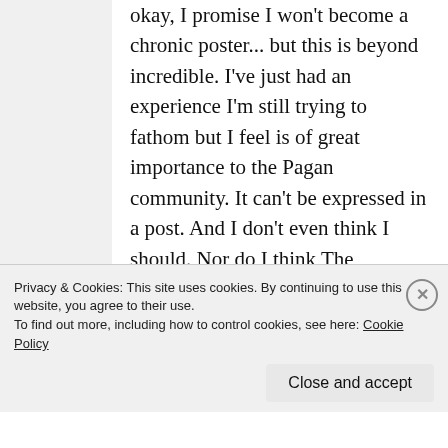okay, I promise I won't become a chronic poster... but this is beyond incredible. I've just had an experience I'm still trying to fathom but I feel is of great importance to the Pagan community. It can't be expressed in a post. And I don't even think I should. Nor do I think The Goddess would approve. What I can say (I think) is that over the course of last 24 hours I was literally initiated into the Mysteries by Isis Herself. I know it sounds incredible, and
Privacy & Cookies: This site uses cookies. By continuing to use this website, you agree to their use.
To find out more, including how to control cookies, see here: Cookie Policy
Close and accept